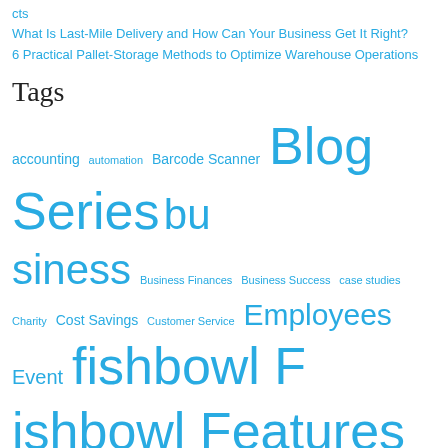cts
What Is Last-Mile Delivery and How Can Your Business Get It Right?
6 Practical Pallet-Storage Methods to Optimize Warehouse Operations
Tags
accounting automation Barcode Scanner Blog Series business Business Finances Business Success case studies Charity Cost Savings Customer Service Employees Event fishbowl Fishbowl Features fishbowl software Fun Guest Blog hotkeys Humor inventory inventory control inventory management inventory management software inventory tracking software leadership manufacturers